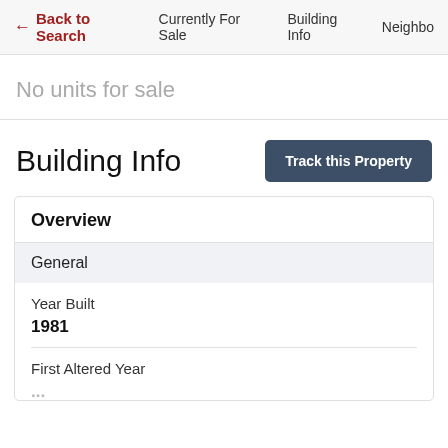← Back to Search   Currently For Sale   Building Info   Neighbo
No units for sale
Building Info
Track this Property
Overview
General
Year Built
1981
First Altered Year